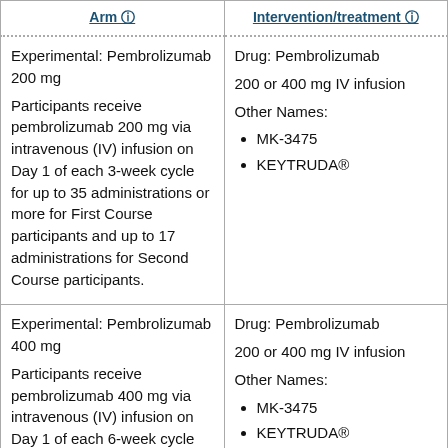| Arm | Intervention/treatment |
| --- | --- |
| Experimental: Pembrolizumab 200 mg
Participants receive pembrolizumab 200 mg via intravenous (IV) infusion on Day 1 of each 3-week cycle for up to 35 administrations or more for First Course participants and up to 17 administrations for Second Course participants. | Drug: Pembrolizumab
200 or 400 mg IV infusion
Other Names:
• MK-3475
• KEYTRUDA® |
| Experimental: Pembrolizumab 400 mg
Participants receive pembrolizumab 400 mg via intravenous (IV) infusion on Day 1 of each 6-week cycle | Drug: Pembrolizumab
200 or 400 mg IV infusion
Other Names:
• MK-3475
• KEYTRUDA® |